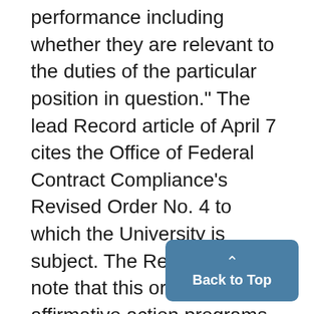performance including whether they are relevant to the duties of the particular position in question." The lead Record article of April 7 cites the Office of Federal Contract Compliance's Revised Order No. 4 to which the University is subject. The Record fails to note that this order says that affirmative action programs should include, among, other elements: "Consideration of minorities and women not currently in the wo having requisite skills who